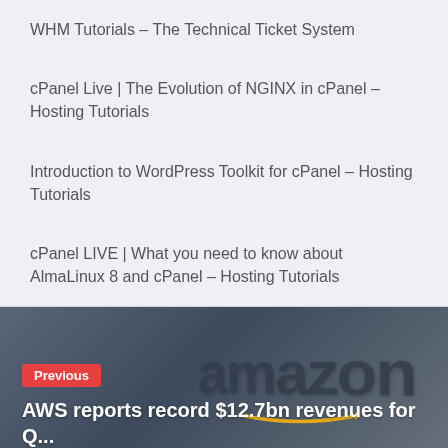WHM Tutorials – The Technical Ticket System
cPanel Live | The Evolution of NGINX in cPanel – Hosting Tutorials
Introduction to WordPress Toolkit for cPanel – Hosting Tutorials
cPanel LIVE | What you need to know about AlmaLinux 8 and cPanel – Hosting Tutorials
[Figure (photo): Amazon building exterior with large amazon logo signage, dark blue-grey tinted background]
Previous
AWS reports record $12.7bn revenues for Q...
February 3, 2021